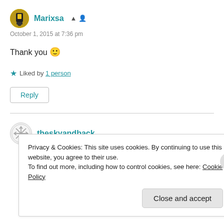Marixsa [person icon]
October 1, 2015 at 7:36 pm
Thank you 🙂
★ Liked by 1 person
Reply
theskyandback
Privacy & Cookies: This site uses cookies. By continuing to use this website, you agree to their use.
To find out more, including how to control cookies, see here: Cookie Policy
Close and accept